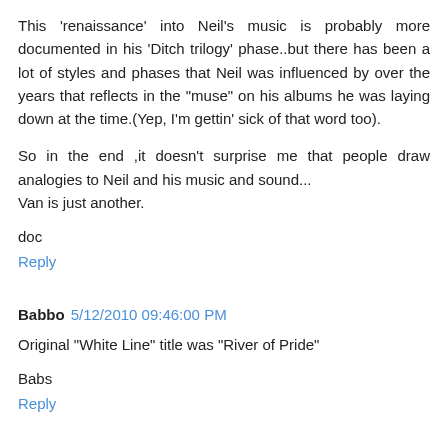This 'renaissance' into Neil's music is probably more documented in his 'Ditch trilogy' phase..but there has been a lot of styles and phases that Neil was influenced by over the years that reflects in the "muse" on his albums he was laying down at the time.(Yep, I'm gettin' sick of that word too).
So in the end ,it doesn't surprise me that people draw analogies to Neil and his music and sound...
Van is just another.
doc
Reply
Babbo  5/12/2010 09:46:00 PM
Original "White Line" title was "River of Pride"
Babs
Reply